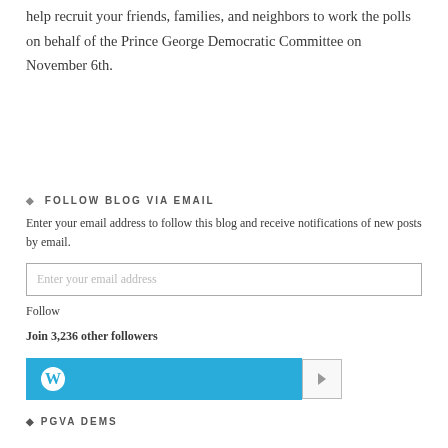help recruit your friends, families, and neighbors to work the polls on behalf of the Prince George Democratic Committee on November 6th.
FOLLOW BLOG VIA EMAIL
Enter your email address to follow this blog and receive notifications of new posts by email.
Enter your email address
Follow
Join 3,236 other followers
[Figure (other): WordPress follow button with blue background and WordPress logo, with a small white box to the right]
PGVA DEMS
TAGS